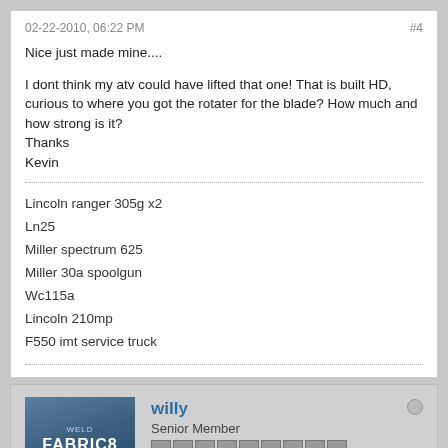02-22-2010, 06:22 PM   #4
Nice just made mine....
I dont think my atv could have lifted that one! That is built HD, curious to where you got the rotater for the blade? How much and how strong is it?
Thanks
Kevin
Lincoln ranger 305g x2
Ln25
Miller spectrum 625
Miller 30a spoolgun
Wc115a
Lincoln 210mp
F550 imt service truck
willy
Senior Member
Join Date: Dec 2006   Posts: 317